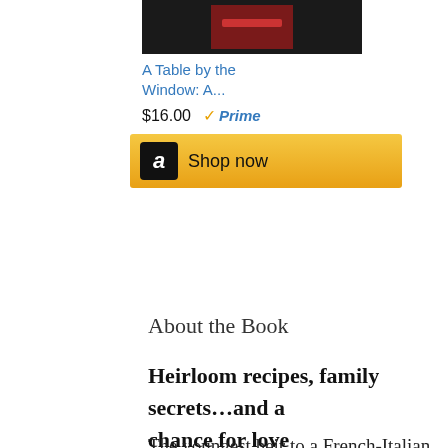[Figure (screenshot): Amazon product ad showing book cover image (dark background with red book), title 'A Table by the Window: A...', price '$16.00', Prime badge with checkmark, and 'Shop now' button with Amazon logo.]
About the Book
Heirloom recipes, family secrets…and a chance for love
The youngest heir to a French-Italian restaurant dynasty, food writer Juliette D'Alisa has spent her life negotiating her skill with words and her restaurant aspirations. When her brother Nico offers her a chance to open a restaurant together